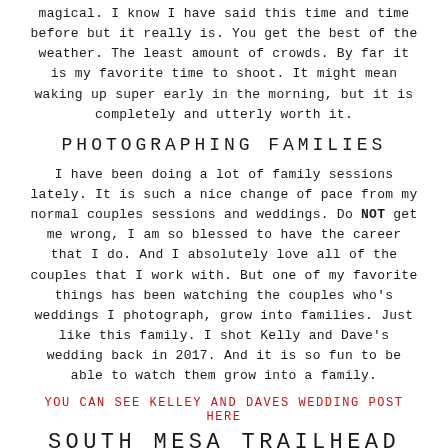magical. I know I have said this time and time before but it really is. You get the best of the weather. The least amount of crowds. By far it is my favorite time to shoot. It might mean waking up super early in the morning, but it is completely and utterly worth it.
PHOTOGRAPHING FAMILIES
I have been doing a lot of family sessions lately. It is such a nice change of pace from my normal couples sessions and weddings. Do NOT get me wrong, I am so blessed to have the career that I do. And I absolutely love all of the couples that I work with. But one of my favorite things has been watching the couples who's weddings I photograph, grow into families. Just like this family. I shot Kelly and Dave's wedding back in 2017. And it is so fun to be able to watch them grow into a family.
YOU CAN SEE KELLEY AND DAVES WEDDING POST HERE
SOUTH MESA TRAILHEAD